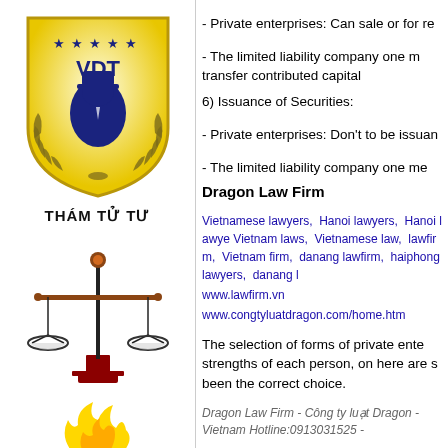[Figure (logo): VDT shield logo with detective figure and stars, yellow/gold shield with laurel wreath, 'VDT' text]
THÁM TỬ TƯ
[Figure (illustration): Scales of justice icon, black and gold balance scales on a red base]
[Figure (illustration): Yellow flame illustration (partially visible)]
- Private enterprises: Can sale or for re
- The limited liability company one m transfer contributed capital
6) Issuance of Securities:
- Private enterprises: Don't to be issuan
- The limited liability company one me
Dragon Law Firm
Vietnamese lawyers, Hanoi lawyers, Hanoi lawye Vietnam laws, Vietnamese law, lawfirm, Vietnam firm, danang lawfirm, haiphong lawyers, danang l
www.lawfirm.vn
www.congtyluatdragon.com/home.htm
The selection of forms of private ente strengths of each person, on here are s been the correct choice.
Dragon Law Firm - Công ty luật Dragon - Vietnam Hotline:0913031525 -
Latest news  NEW